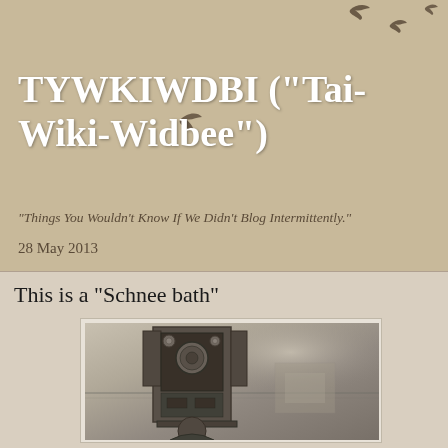TYWKIWDBI ("Tai-Wiki-Widbee")
"Things You Wouldn't Know If We Didn't Blog Intermittently."
28 May 2013
This is a "Schnee bath"
[Figure (photo): Vintage black and white photograph of a person with a large electrical cabinet/device (Schnee bath electrotherapy apparatus) positioned in front of them, appearing to enclose the person's head. The photo is sepia-toned and historical in nature.]